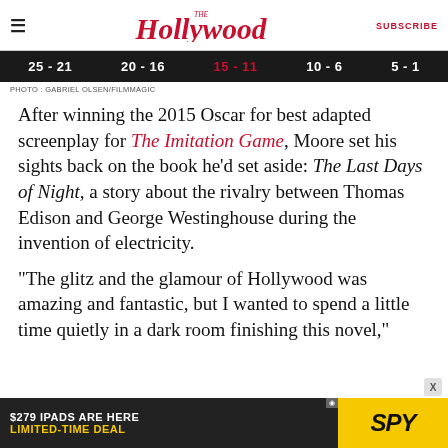The Hollywood Reporter | SUBSCRIBE
25 - 21 | 20 - 16 | 15 - 11 | 10 - 6 | 5 - 1
PHOTO : GABRIEL OLSEN/FILMMAGIC
After winning the 2015 Oscar for best adapted screenplay for The Imitation Game, Moore set his sights back on the book he'd set aside: The Last Days of Night, a story about the rivalry between Thomas Edison and George Westinghouse during the invention of electricity.
"The glitz and the glamour of Hollywood was amazing and fantastic, but I wanted to spend a little time quietly in a dark room finishing this novel," says Moore, 34.
[Figure (other): Advertisement banner: $279 IPADS ARE HERE LIMITED-TIME DEAL with SPY logo on yellow background]